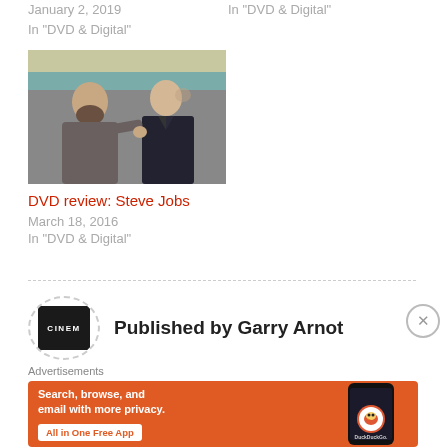January 2, 2019
In "DVD & Digital"
In "DVD & Digital"
[Figure (photo): Two men facing each other in a scene from the Steve Jobs film, one with a beard in casual clothing and one in a suit]
DVD review: Steve Jobs
March 18, 2016
In "DVD & Digital"
Published by Garry Arnot
Advertisements
[Figure (screenshot): DuckDuckGo advertisement banner on orange background: 'Search, browse, and email with more privacy. All in One Free App' with phone image showing DuckDuckGo app]